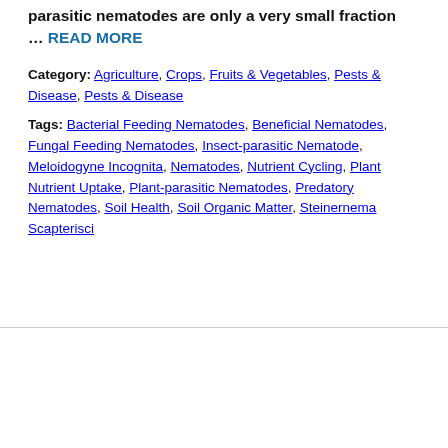parasitic nematodes are only a very small fraction
… READ MORE
Category: Agriculture, Crops, Fruits & Vegetables, Pests & Disease, Pests & Disease
Tags: Bacterial Feeding Nematodes, Beneficial Nematodes, Fungal Feeding Nematodes, Insect-parasitic Nematode, Meloidogyne Incognita, Nematodes, Nutrient Cycling, Plant Nutrient Uptake, Plant-parasitic Nematodes, Predatory Nematodes, Soil Health, Soil Organic Matter, Steinernema Scapterisci